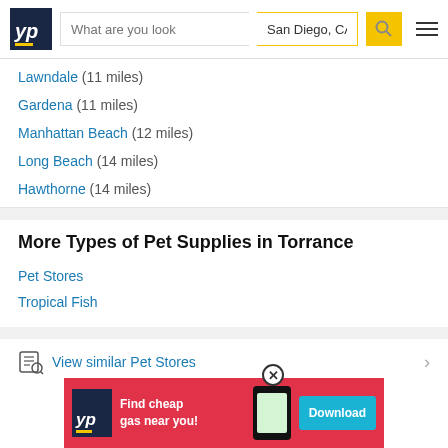YP | What are you looking for? | San Diego, CA
Lawndale (11 miles)
Gardena (11 miles)
Manhattan Beach (12 miles)
Long Beach (14 miles)
Hawthorne (14 miles)
More Types of Pet Supplies in Torrance
Pet Stores
Tropical Fish
View similar Pet Stores
[Figure (screenshot): YP advertisement banner: Find cheap gas near you! Download button]